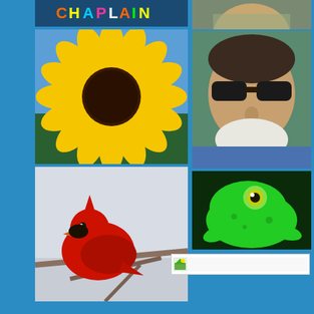[Figure (photo): Chaplain sign with colorful letters on dark background]
[Figure (photo): Person photographed outdoors, partial view from above]
[Figure (photo): Close-up of a large yellow sunflower against blue sky]
[Figure (photo): Middle-aged man with sunglasses and white beard in blue shirt, selfie-style photo]
[Figure (photo): Red cardinal bird perched on bare tree branches against grey sky]
[Figure (photo): Bright green tree frog with large yellow eye on dark background]
[Figure (photo): Small icon or thumbnail image with white/light background in a bar]